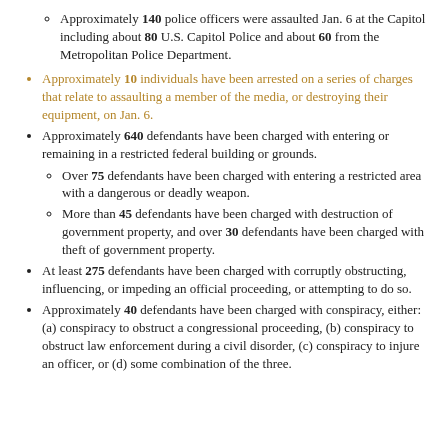Approximately 140 police officers were assaulted Jan. 6 at the Capitol including about 80 U.S. Capitol Police and about 60 from the Metropolitan Police Department.
Approximately 10 individuals have been arrested on a series of charges that relate to assaulting a member of the media, or destroying their equipment, on Jan. 6.
Approximately 640 defendants have been charged with entering or remaining in a restricted federal building or grounds.
Over 75 defendants have been charged with entering a restricted area with a dangerous or deadly weapon.
More than 45 defendants have been charged with destruction of government property, and over 30 defendants have been charged with theft of government property.
At least 275 defendants have been charged with corruptly obstructing, influencing, or impeding an official proceeding, or attempting to do so.
Approximately 40 defendants have been charged with conspiracy, either: (a) conspiracy to obstruct a congressional proceeding, (b) conspiracy to obstruct law enforcement during a civil disorder, (c) conspiracy to injure an officer, or (d) some combination of the three.